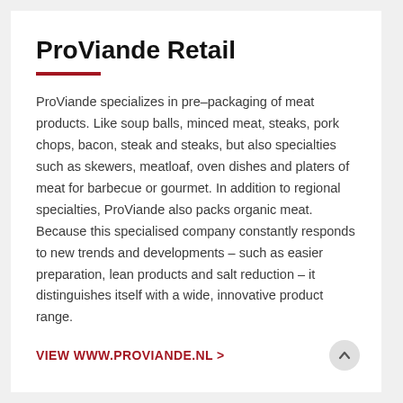ProViande Retail
ProViande specializes in pre–packaging of meat products. Like soup balls, minced meat, steaks, pork chops, bacon, steak and steaks, but also specialties such as skewers, meatloaf, oven dishes and platers of meat for barbecue or gourmet. In addition to regional specialties, ProViande also packs organic meat. Because this specialised company constantly responds to new trends and developments – such as easier preparation, lean products and salt reduction – it distinguishes itself with a wide, innovative product range.
VIEW WWW.PROVIANDE.NL >